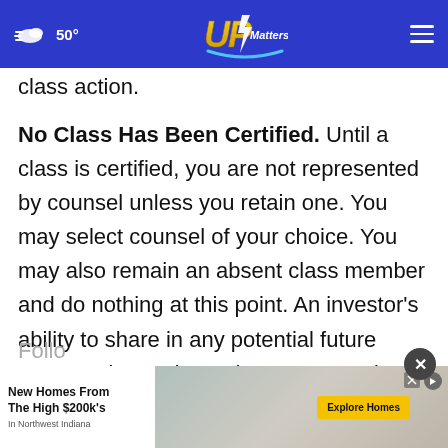50° UPMatters.com
class action.
No Class Has Been Certified. Until a class is certified, you are not represented by counsel unless you retain one. You may select counsel of your choice. You may also remain an absent class member and do nothing at this point. An investor's ability to share in any potential future recovery is not dependent upon serving as lead plaintiff.
Follo...